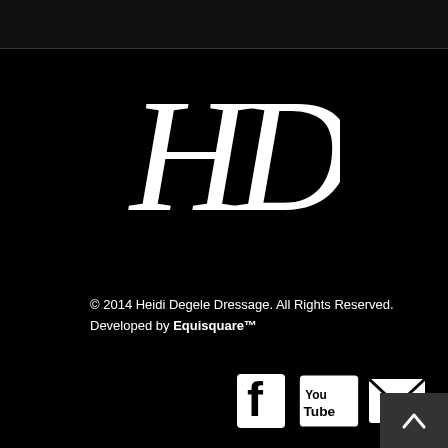[Figure (logo): HD monogram logo in white cursive script on black background]
© 2014 Heidi Degele Dressage. All Rights Reserved.
Developed by Equisquare™
[Figure (other): Social media icons: Facebook, YouTube, Email/envelope]
[Figure (other): Back to top button with upward chevron arrow on dark grey background]